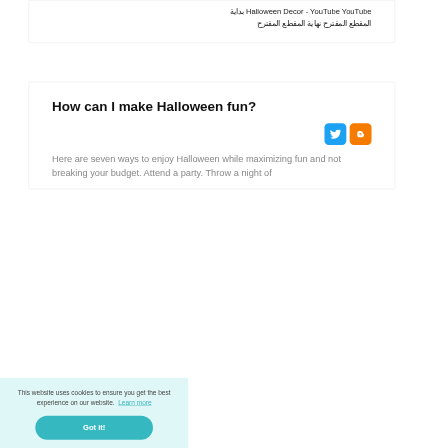Halloween Decor - YouTube YouTube بداية المقطع المقترح نهاية المقطع المقترح
How can I make Halloween fun?
Here are seven ways to enjoy Halloween while maximizing fun and not breaking your budget. Attend a party. Throw a night of
This website uses cookies to ensure you get the best experience on our website. Learn more
Got it!